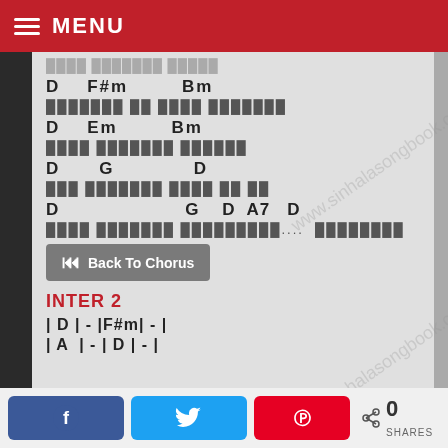MENU
Sinhala lyrics line 1
D   F#m         Bm
Sinhala lyrics line 2
D   Em          Bm
Sinhala lyrics line 3
D        G                 D
Sinhala lyrics line 4
D                        G    D  A7   D
Sinhala lyrics line 5 ....
Back To Chorus
INTER 2
| D | - |F#m| - |
| A  | - | D  | - |
0 SHARES